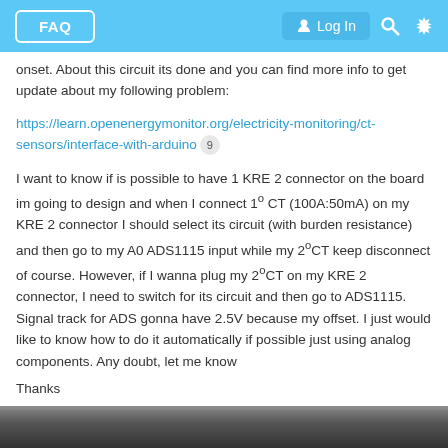FAQ  Log In
onset. About this circuit its done and you can find more info to get update about my following problem:
https://learn.openenergymonitor.org/electricity-monitoring/ct-sensors/interface-with-arduino  9
I want to know if is possible to have 1 KRE 2 connector on the board im going to design and when I connect 1º CT (100A:50mA) on my KRE 2 connector I should select its circuit (with burden resistance) and then go to my A0 ADS1115 input while my 2ºCT keep disconnect of course. However, if I wanna plug my 2ºCT on my KRE 2 connector, I need to switch for its circuit and then go to ADS1115. Signal track for ADS gonna have 2.5V because my offset. I just would like to know how to do it automatically if possible just using analog components. Any doubt, let me know
Thanks
[Figure (photo): Bottom strip showing a dark grayscale photo or image, partially visible at the bottom of the page.]